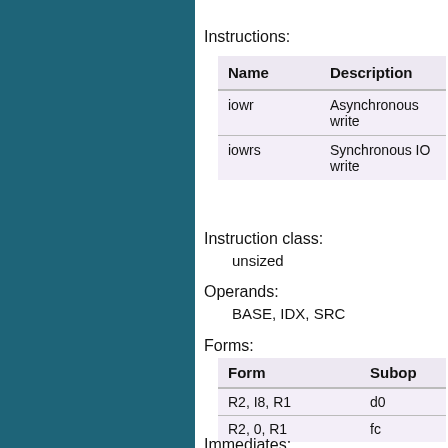Instructions:
| Name | Description |
| --- | --- |
| iowr | Asynchronous write |
| iowrs | Synchronous IO write |
Instruction class:
unsized
Operands:
BASE, IDX, SRC
Forms:
| Form | Subop |
| --- | --- |
| R2, I8, R1 | d0 |
| R2, 0, R1 | fc |
Immediates:
zero-extended